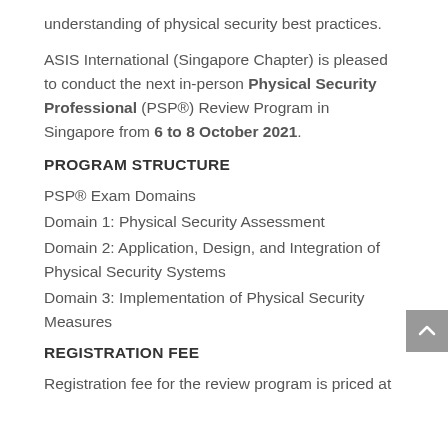understanding of physical security best practices.
ASIS International (Singapore Chapter) is pleased to conduct the next in-person Physical Security Professional (PSP®) Review Program in Singapore from 6 to 8 October 2021.
PROGRAM STRUCTURE
PSP® Exam Domains
Domain 1: Physical Security Assessment
Domain 2: Application, Design, and Integration of Physical Security Systems
Domain 3: Implementation of Physical Security Measures
REGISTRATION FEE
Registration fee for the review program is priced at